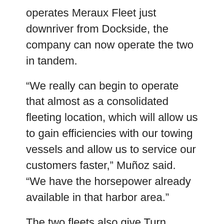operates Meraux Fleet just downriver from Dockside, the company can now operate the two in tandem.
“We really can begin to operate that almost as a consolidated fleeting location, which will allow us to gain efficiencies with our towing vessels and allow us to service our customers faster,” Muñoz said. “We have the horsepower already available in that harbor area.”
The two fleets also give Turn Services a prominent presence at both Algiers Lock (Meraux Fleet) and the Inner Harbor Navigation Canal Lock (Dockside Fleet) and the barge traffic going east and west on the Gulf Intracoastal Waterway between those two locks.